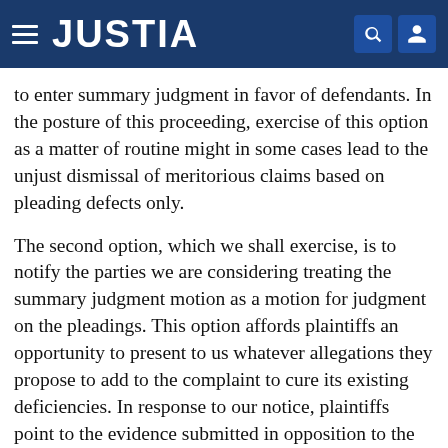JUSTIA
to enter summary judgment in favor of defendants. In the posture of this proceeding, exercise of this option as a matter of routine might in some cases lead to the unjust dismissal of meritorious claims based on pleading defects only.
The second option, which we shall exercise, is to notify the parties we are considering treating the summary judgment motion as a motion for judgment on the pleadings. This option affords plaintiffs an opportunity to present to us whatever allegations they propose to add to the complaint to cure its existing deficiencies. In response to our notice, plaintiffs point to the evidence submitted in opposition to the summary judgment motion as providing the basis for allegations which would state a cognizable claim.